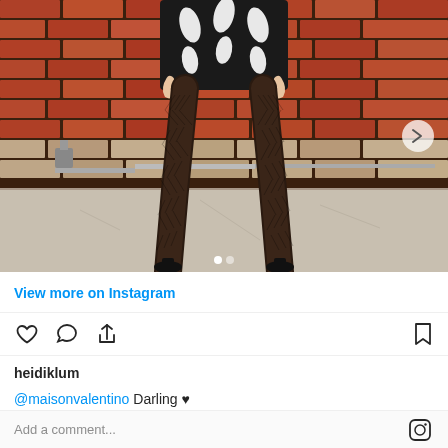[Figure (photo): Instagram post showing legs of a person wearing a black and white patterned sweater/mini dress with fishnet stockings and black pointed-toe heels, standing in front of a brick wall]
View more on Instagram
[Figure (other): Instagram action icons: heart (like), speech bubble (comment), share arrow, and bookmark]
heidiklum
@maisonvalentino Darling ♥
Add a comment...